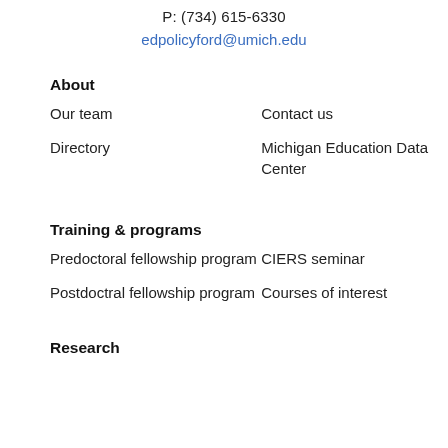P: (734) 615-6330
edpolicyford@umich.edu
About
Our team
Contact us
Directory
Michigan Education Data Center
Training & programs
Predoctoral fellowship program
CIERS seminar
Postdoctral fellowship program
Courses of interest
Research